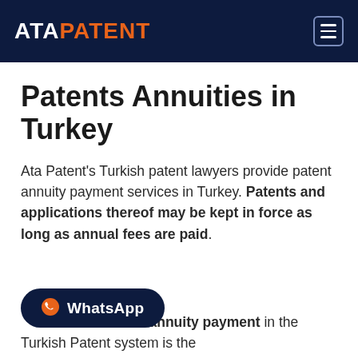ATA PATENT
Patents Annuities in Turkey
Ata Patent's Turkish patent lawyers provide patent annuity payment services in Turkey. Patents and applications thereof may be kept in force as long as annual fees are paid.
WhatsApp — annuity payment in the Turkish Patent system is the